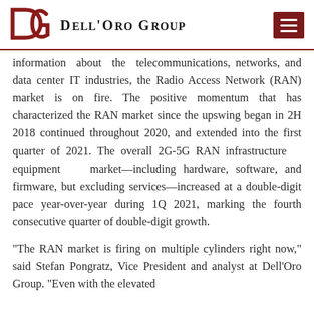Dell'Oro Group
information about the telecommunications, networks, and data center IT industries, the Radio Access Network (RAN) market is on fire. The positive momentum that has characterized the RAN market since the upswing began in 2H 2018 continued throughout 2020, and extended into the first quarter of 2021. The overall 2G-5G RAN infrastructure equipment market—including hardware, software, and firmware, but excluding services—increased at a double-digit pace year-over-year during 1Q 2021, marking the fourth consecutive quarter of double-digit growth.
“The RAN market is firing on multiple cylinders right now,” said Stefan Pongratz, Vice President and analyst at Dell’Oro Group. “Even with the elevated